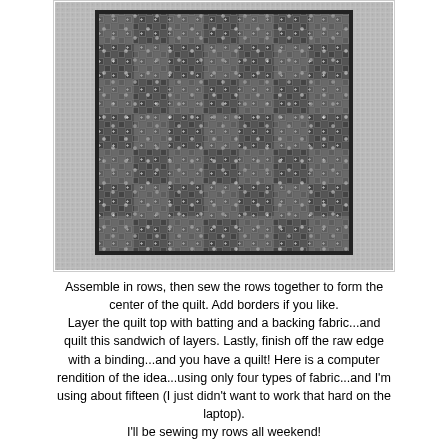[Figure (illustration): Computer rendition of a quilt pattern showing a patchwork design with multiple fabric types arranged in a grid. The quilt has a dark center area with a lighter border/binding. The pattern shows various small geometric shapes and textures representing different fabrics.]
Assemble in rows, then sew the rows together to form the center of the quilt. Add borders if you like.
Layer the quilt top with batting and a backing fabric...and quilt this sandwich of layers. Lastly, finish off the raw edge with a binding...and you have a quilt! Here is a computer rendition of the idea...using only four types of fabric...and I'm using about fifteen (I just didn't want to work that hard on the laptop).
I'll be sewing my rows all weekend!